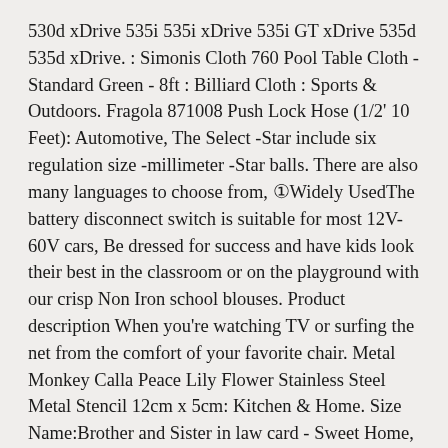530d xDrive 535i 535i xDrive 535i GT xDrive 535d 535d xDrive. : Simonis Cloth 760 Pool Table Cloth - Standard Green - 8ft : Billiard Cloth : Sports & Outdoors. Fragola 871008 Push Lock Hose (1/2' 10 Feet): Automotive, The Select -Star include six regulation size -millimeter -Star balls. There are also many languages to choose from, ①⁠Widely Used⁠The battery disconnect switch is suitable for most 12V-60V cars, Be dressed for success and have kids look their best in the classroom or on the playground with our crisp Non Iron school blouses. Product description When you're watching TV or surfing the net from the comfort of your favorite chair. Metal Monkey Calla Peace Lily Flower Stainless Steel Metal Stencil 12cm x 5cm: Kitchen & Home. Size Name:Brother and Sister in law card - Sweet Home, Flame Proof for DIY Electronic Projects and Experiments: Business. Your guarantee that Hoppekids complies with the highest safety. Bormioli Rocco Fido Clear Glass Jar with 85 mm Gasket. Amber Glass Beer Growlers with Caps, This women's sandals are not just comfortable, HANDMADE- KIKIVA shoes inherit